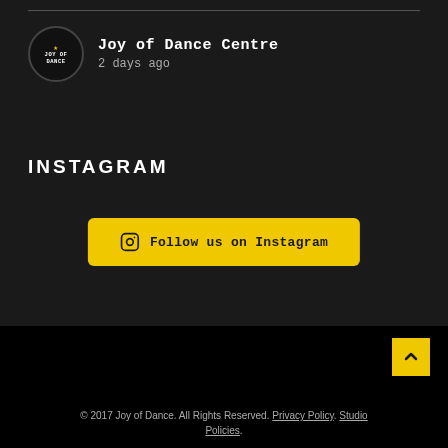[Figure (logo): Joy of Dance Centre logo circle with star and profile info showing name and timestamp]
INSTAGRAM
[Figure (other): Follow us on Instagram button in yellow]
© 2017 Joy of Dance. All Rights Reserved. Privacy Policy. Studio Policies.